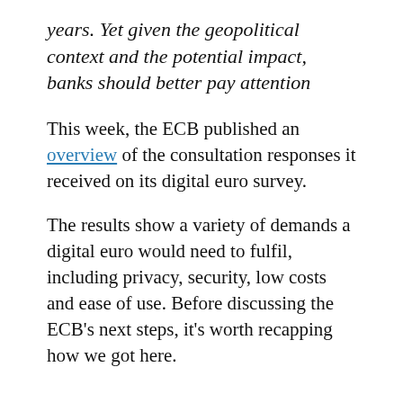years. Yet given the geopolitical context and the potential impact, banks should better pay attention
This week, the ECB published an overview of the consultation responses it received on its digital euro survey.
The results show a variety of demands a digital euro would need to fulfil, including privacy, security, low costs and ease of use. Before discussing the ECB's next steps, it's worth recapping how we got here.
FROM TECH GIMMICK TO MUST-HAVE IN A FEW YEARS